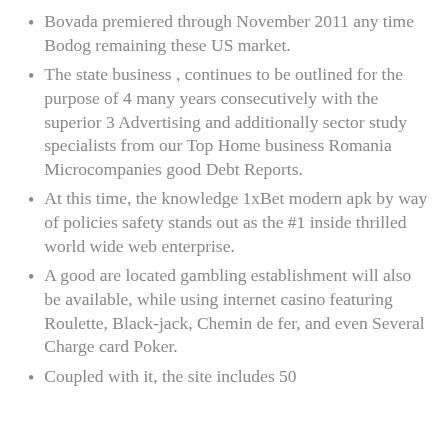Bovada premiered through November 2011 any time Bodog remaining these US market.
The state business , continues to be outlined for the purpose of 4 many years consecutively with the superior 3 Advertising and additionally sector study specialists from our Top Home business Romania Microcompanies good Debt Reports.
At this time, the knowledge 1xBet modern apk by way of policies safety stands out as the #1 inside thrilled world wide web enterprise.
A good are located gambling establishment will also be available, while using internet casino featuring Roulette, Black-jack, Chemin de fer, and even Several Charge card Poker.
Coupled with it, the site includes 50